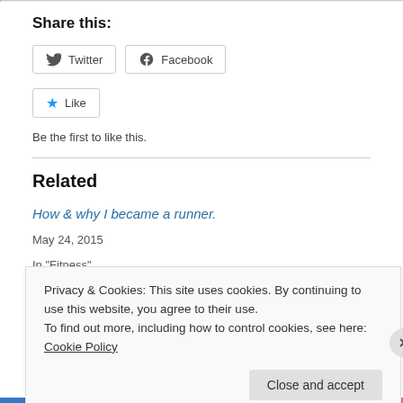Share this:
[Figure (other): Twitter and Facebook share buttons]
[Figure (other): Like button with star icon]
Be the first to like this.
Related
How & why I became a runner.
May 24, 2015
In "Fitness"
Privacy & Cookies: This site uses cookies. By continuing to use this website, you agree to their use.
To find out more, including how to control cookies, see here: Cookie Policy
Close and accept